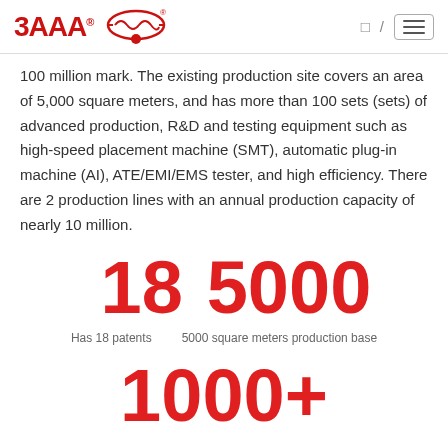3AAA [logo] / [nav]
100 million mark. The existing production site covers an area of 5,000 square meters, and has more than 100 sets (sets) of advanced production, R&D and testing equipment such as high-speed placement machine (SMT), automatic plug-in machine (AI), ATE/EMI/EMS tester, and high efficiency. There are 2 production lines with an annual production capacity of nearly 10 million.
18  5000
Has 18 patents   5000 square meters production base
1000+